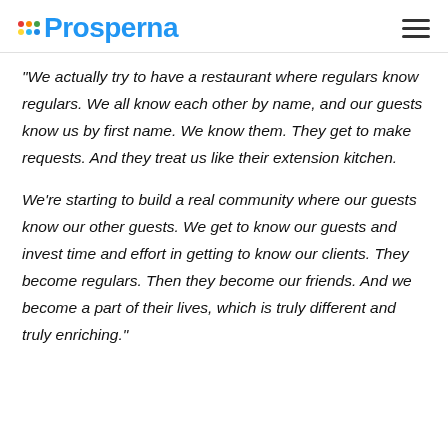Prosperna
"We actually try to have a restaurant where regulars know regulars. We all know each other by name, and our guests know us by first name. We know them. They get to make requests. And they treat us like their extension kitchen.

We're starting to build a real community where our guests know our other guests. We get to know our guests and invest time and effort in getting to know our clients. They become regulars. Then they become our friends. And we become a part of their lives, which is truly different and truly enriching."